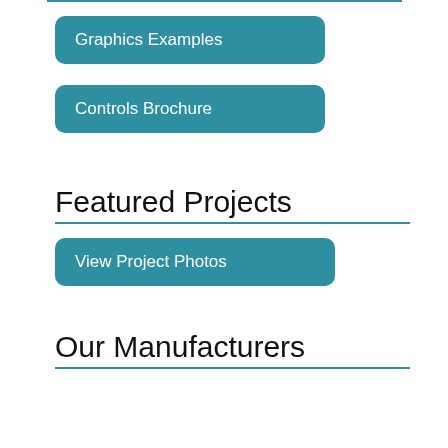Graphics Examples
Controls Brochure
Featured Projects
View Project Photos
Our Manufacturers